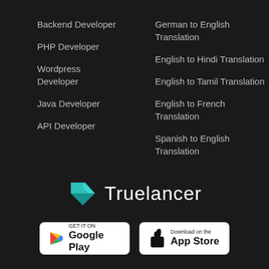Backend Developer
PHP Developer
Wordpress Developer
Java Developer
API Developer
German to English Translation
English to Hindi Translation
English to Tamil Translation
English to French Translation
Spanish to English Translation
[Figure (logo): Truelancer logo with teal origami-style bird/flag icon and white text 'Truelancer']
[Figure (screenshot): Google Play Store badge - GET IT ON Google Play]
[Figure (screenshot): Apple App Store badge - Download on the App Store]
[Figure (logo): Social media icons: Facebook, Twitter, LinkedIn]
[Figure (illustration): Twitter bird icon]